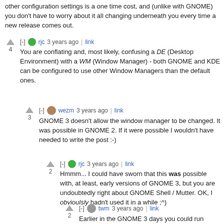other configuration settings is a one time cost, and (unlike with GNOME) you don't have to worry about it all changing underneath you every time a new release comes out.
[-] rjc 3 years ago | link
4
You are conflating and, most likely, confusing a DE (Desktop Environment) with a WM (Window Manager) - both GNOME and KDE can be configured to use other Window Managers than the default ones.
[-] wezm 3 years ago | link
3
GNOME 3 doesn't allow the window manager to be changed. It was possible in GNOME 2. If it were possible I wouldn't have needed to write the post :-)
[-] rjc 3 years ago | link
2
Hmmm... I could have sworn that this was possible with, at least, early versions of GNOME 3, but you are undoubtedly right about GNOME Shell / Mutter. OK, I obvioulsly hadn't used it in a while ;^)
[-] twm 3 years ago | link
2
Earlier in the GNOME 3 days you could run gnome...